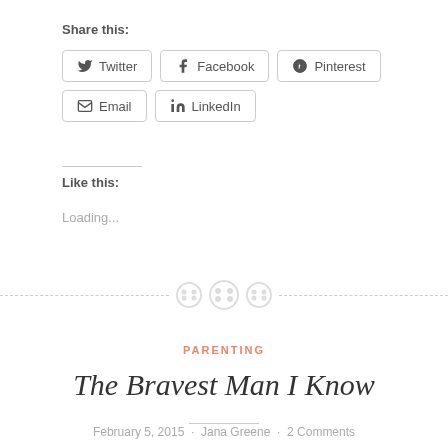Share this:
Twitter
Facebook
Pinterest
Email
LinkedIn
Like this:
Loading...
[Figure (illustration): Decorative divider with three button/circle icons and dashed lines on either side]
PARENTING
The Bravest Man I Know
February 5, 2015 · Jana Greene · 2 Comments